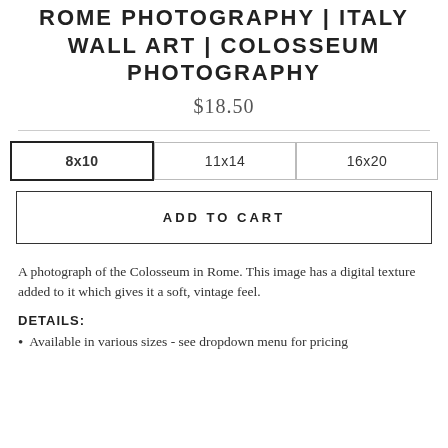ROME PHOTOGRAPHY | ITALY WALL ART | COLOSSEUM PHOTOGRAPHY
$18.50
[Figure (other): Size selection buttons: 8x10 (selected), 11x14, 16x20]
ADD TO CART
A photograph of the Colosseum in Rome. This image has a digital texture added to it which gives it a soft, vintage feel.
DETAILS:
Available in various sizes - see dropdown menu for pricing